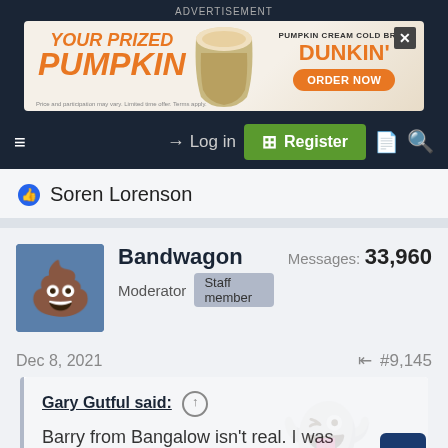[Figure (screenshot): Dunkin' Pumpkin Cream Cold Brew advertisement banner]
Log in | Register
Soren Lorenson
Bandwagon
Moderator Staff member
Messages: 33,960
Dec 8, 2021 #9,145
Gary Gutful said: ↑
Barry from Bangalow isn't real. I was exaggerating to make a point.